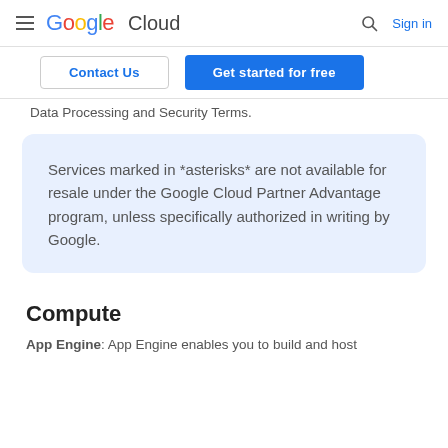Google Cloud  Sign in
Contact Us  Get started for free
Data Processing and Security Terms.
Services marked in *asterisks* are not available for resale under the Google Cloud Partner Advantage program, unless specifically authorized in writing by Google.
Compute
App Engine: App Engine enables you to build and host